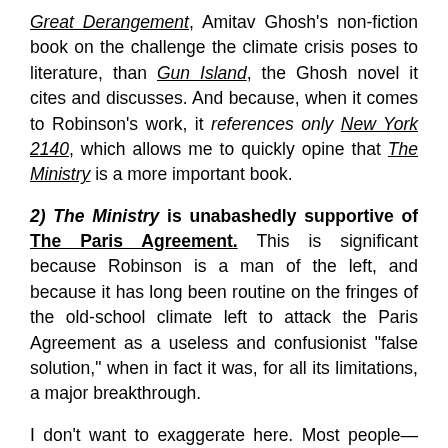Great Derangement, Amitav Ghosh's non-fiction book on the challenge the climate crisis poses to literature, than Gun Island, the Ghosh novel it cites and discusses. And because, when it comes to Robinson's work, it references only New York 2140, which allows me to quickly opine that The Ministry is a more important book.
2) The Ministry is unabashedly supportive of The Paris Agreement.
This is significant because Robinson is a man of the left, and because it has long been routine on the fringes of the old-school climate left to attack the Paris Agreement as a useless and confusionist "false solution," when in fact it was, for all its limitations, a major breakthrough.
I don't want to exaggerate here. Most people—think of Sunrise, or all the people working to coordinate the Biden and Sanders strategies — could give a fuck about the